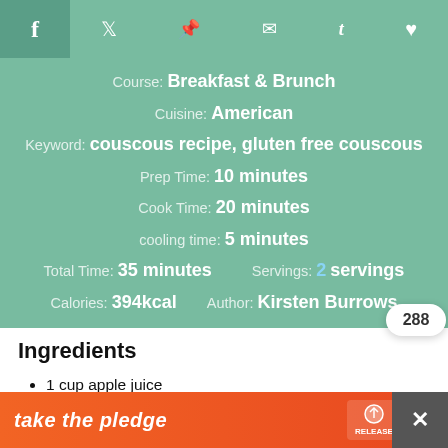Social share bar: Facebook, Twitter, Pinterest, Email, Tumblr, Bookmark
Course: Breakfast & Brunch
Cuisine: American
Keyword: couscous recipe, gluten free couscous
Prep Time: 10 minutes
Cook Time: 20 minutes
cooling time: 5 minutes
Total Time: 35 minutes    Servings: 2 servings
Calories: 394kcal    Author: Kirsten Burrows
Ingredients
1 cup apple juice
½ cup brown rice couscous
1 cup mixed berries
¼ cup coconut flakes (remove if avoiding
take the pledge